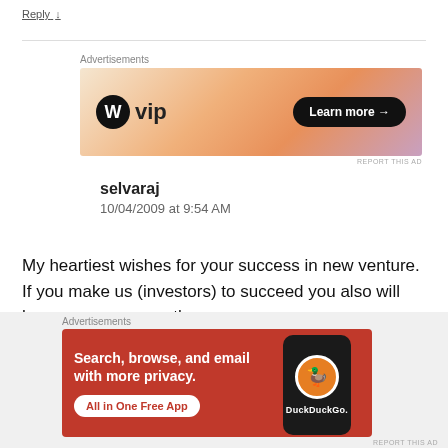Reply ↓
[Figure (screenshot): WordPress VIP advertisement banner with orange gradient background and 'Learn more →' button]
selvaraj
10/04/2009 at 9:54 AM
My heartiest wishes for your success in new venture. If you make us (investors) to succeed you also will have more success than us.
[Figure (screenshot): DuckDuckGo advertisement banner with red background: 'Search, browse, and email with more privacy. All in One Free App' with phone graphic]